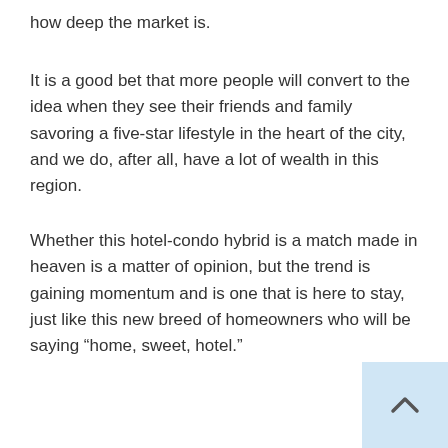how deep the market is.
It is a good bet that more people will convert to the idea when they see their friends and family savoring a five-star lifestyle in the heart of the city, and we do, after all, have a lot of wealth in this region.
Whether this hotel-condo hybrid is a match made in heaven is a matter of opinion, but the trend is gaining momentum and is one that is here to stay, just like this new breed of homeowners who will be saying “home, sweet, hotel.”